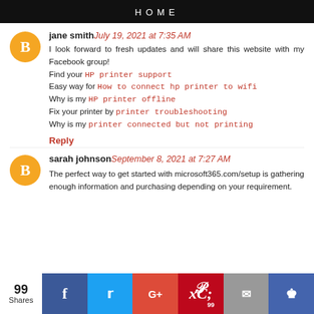HOME
jane smith July 19, 2021 at 7:35 AM
I look forward to fresh updates and will share this website with my Facebook group!
Find your HP printer support
Easy way for How to connect hp printer to wifi
Why is my HP printer offline
Fix your printer by printer troubleshooting
Why is my printer connected but not printing
Reply
sarah johnson September 8, 2021 at 7:27 AM
The perfect way to get started with microsoft365.com/setup is gathering enough information and purchasing depending on your requirement.
99 Shares